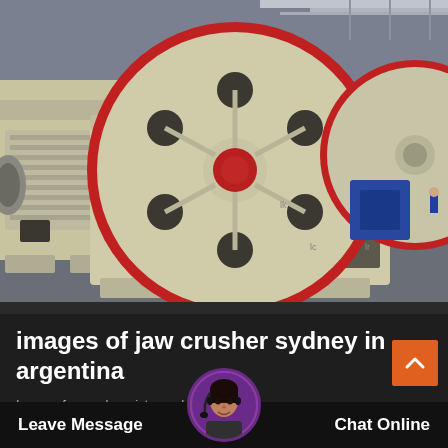[Figure (photo): Industrial jaw crusher machine with large red-rimmed flywheel, cream/yellow colored body, photographed inside a large factory warehouse with concrete floor and industrial ceiling structure visible in background.]
images of jaw crusher sydney in argentina
Images for crusher pictures dubai best crushers stone crusher in india images
Leave Message   Chat Online